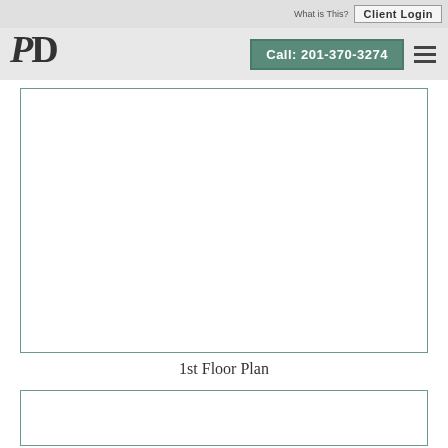What is This?  Client Login
Call: 201-370-3274
[Figure (other): Empty white box representing 1st Floor Plan image placeholder, with teal/green border]
1st Floor Plan
[Figure (other): Empty white box representing a second floor plan image placeholder, with teal/green border]